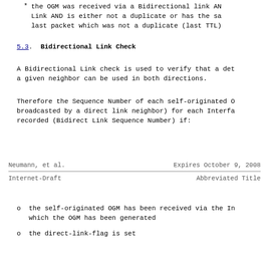the OGM was received via a Bidirectional link AND Link AND is either not a duplicate or has the sa last packet which was not a duplicate (last TTL)
5.3. Bidirectional Link Check
A Bidirectional Link check is used to verify that a det a given neighbor can be used in both directions.
Therefore the Sequence Number of each self-originated O broadcasted by a direct link neighbor) for each Interfa recorded (Bidirect Link Sequence Number) if:
Neumann, et al.                    Expires October 9, 2008
Internet-Draft                     Abbreviated Title
the self-originated OGM has been received via the In which the OGM has been generated
the direct-link-flag is set